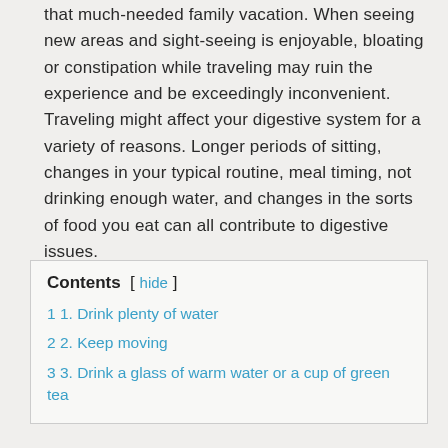that much-needed family vacation. When seeing new areas and sight-seeing is enjoyable, bloating or constipation while traveling may ruin the experience and be exceedingly inconvenient. Traveling might affect your digestive system for a variety of reasons. Longer periods of sitting, changes in your typical routine, meal timing, not drinking enough water, and changes in the sorts of food you eat can all contribute to digestive issues.
Contents [ hide ]
1 1. Drink plenty of water
2 2. Keep moving
3 3. Drink a glass of warm water or a cup of green tea